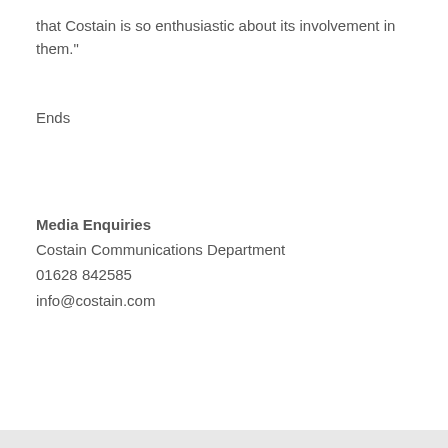that Costain is so enthusiastic about its involvement in them."
Ends
Media Enquiries
Costain Communications Department
01628 842585
info@costain.com